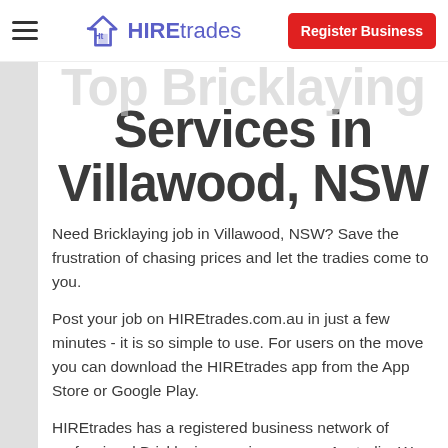HIREtrades — Register Business
Top Bricklaying Services in Villawood, NSW
Need Bricklaying job in Villawood, NSW? Save the frustration of chasing prices and let the tradies come to you.
Post your job on HIREtrades.com.au in just a few minutes - it is so simple to use. For users on the move you can download the HIREtrades app from the App Store or Google Play.
HIREtrades has a registered business network of professional Bricklaying services across Australia. We will reach out to local tradies in your area and connect you with those interested